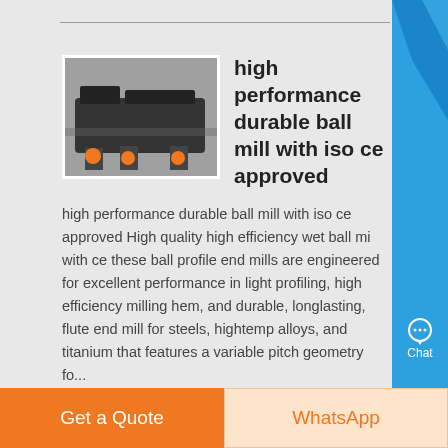[Figure (photo): Industrial ball mill machine in a factory setting]
high performance durable ball mill with iso ce approved
high performance durable ball mill with iso ce approved High quality high efficiency wet ball mi with ce these ball profile end mills are engineered for excellent performance in light profiling, high efficiency milling hem, and durable, longlasting, flute end mill for steels, hightemp alloys, and titanium that features a variable pitch geometry fo...
Know More
[Figure (photo): Second product image partially visible]
Get a Quote
WhatsApp